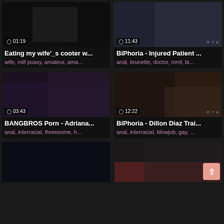[Figure (screenshot): Video thumbnail grid showing adult video website with 6 video cards in 2-column layout. Each card has a thumbnail image, duration badge, title, and tags.]
Eating my wife'_s cooter w...
wife, milf pussy, amateur, ama...
BiPhoria - Injured Patient ...
anal, brunette, doctor, mmf, bi...
BANGBROS Porn - Adriana...
anal, interracial, threesome, h...
BiPhoria - Dillon Diaz Trai...
anal, interracial, blowjob, gay, ...